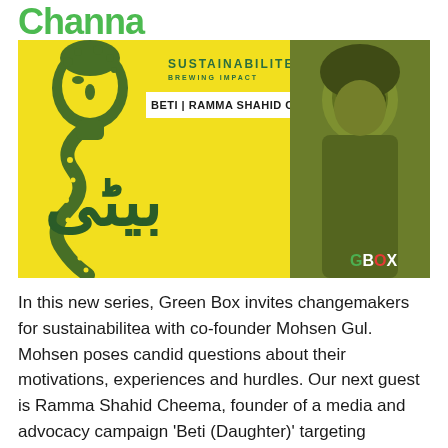Channa
[Figure (illustration): Promotional banner for 'Sustainabilitea – Brewing Impact' podcast/series featuring Beti | Ramma Shahid Cheema. Yellow background with decorative floral silhouette on left, Arabic text for 'Beti' in center, greyscale photo of woman on right, GBOX logo bottom right.]
In this new series, Green Box invites changemakers for sustainabilitea with co-founder Mohsen Gul. Mohsen poses candid questions about their motivations, experiences and hurdles. Our next guest is Ramma Shahid Cheema, founder of a media and advocacy campaign 'Beti (Daughter)' targeting misogyny and gender discrimination rooted in the cultural system in